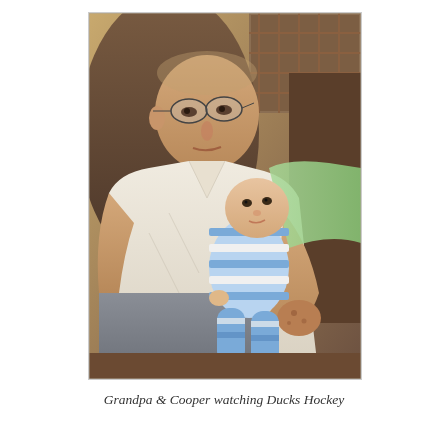[Figure (photo): An elderly man wearing glasses and a white polo shirt sits in a recliner chair, holding a baby dressed in blue and white striped pajamas. The baby looks upward while the grandfather looks down at the baby. A green blanket and patterned blanket are visible in the background.]
Grandpa & Cooper watching Ducks Hockey